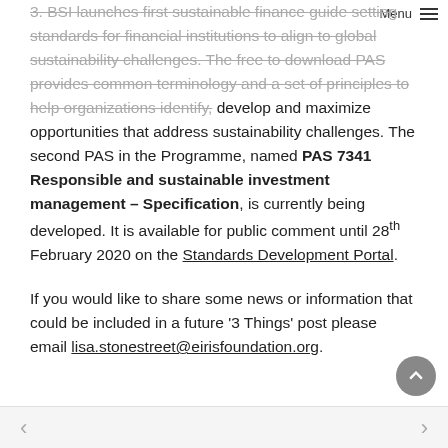Menu
3. BSI launches first sustainable finance guide setting standards for financial institutions to align to global sustainability challenges. The free to download PAS provides common terminology and a set of principles to help organizations identify, develop and maximize opportunities that address sustainability challenges. The second PAS in the Programme, named PAS 7341 Responsible and sustainable investment management – Specification, is currently being developed. It is available for public comment until 28th February 2020 on the Standards Development Portal.
If you would like to share some news or information that could be included in a future '3 Things' post please email lisa.stonestreet@eirisfoundation.org.